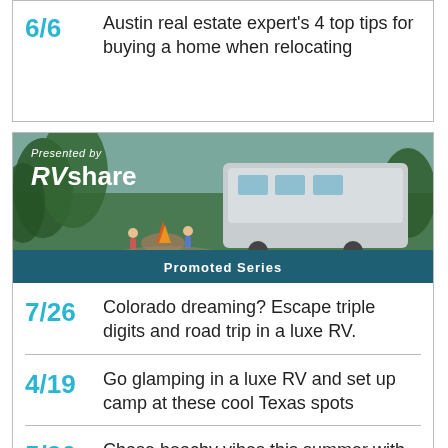6/6 Austin real estate expert's 4 top tips for buying a home when relocating
[Figure (photo): RVshare promoted series banner showing an aerial view of a campsite with an RV, trees, and people around a fire pit. Text: Presented by RVshare. Promoted Series.]
7/26 Colorado dreaming? Escape triple digits and road trip in a luxe RV.
4/19 Go glamping in a luxe RV and set up camp at these cool Texas spots
5/26 Chase beachy vibes this summer with an RV vacation to the shore